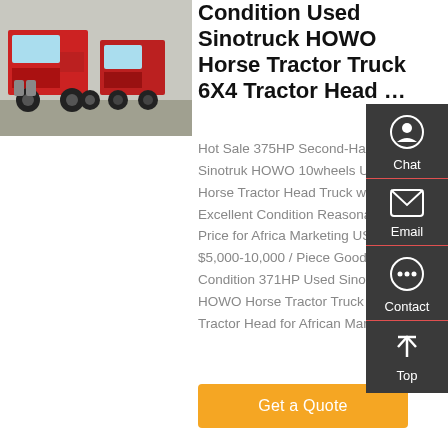[Figure (photo): Red Sinotruck HOWO 6X4 tractor truck (horse head) photographed from front-side angle, multiple units visible]
Condition Used Sinotruck HOWO Horse Tractor Truck 6X4 Tractor Head …
Hot Sale 375HP Second-Hand Sinotruk HOWO 10wheels Used Horse Tractor Head Truck with Excellent Condition Reasonable Price for Africa Marketing US $5,000-10,000 / Piece Good Condition 371HP Used Sinotruck HOWO Horse Tractor Truck 6X4 Tractor Head for African Mark…
Get a Quote